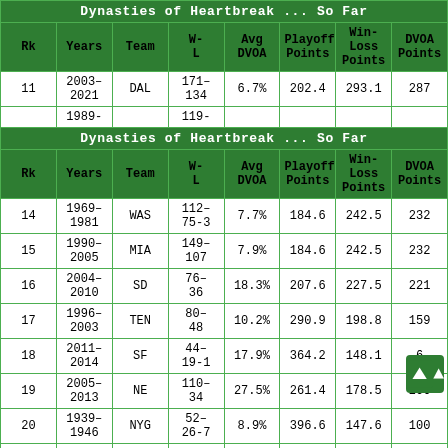| Rk | Years | Team | W-L | Avg DVOA | Playoff Points | Win-Loss Points | DVOA Points |
| --- | --- | --- | --- | --- | --- | --- | --- |
| section_header | Dynasties of Heartbreak ... So Far |
| 11 | 2003-2021 | DAL | 171-134 | 6.7% | 202.4 | 293.1 | 287 |
| partial_row | 1989- |  | 119- |  |  |  |  |
| section_header2 | Dynasties of Heartbreak ... So Far |
| 14 | 1969-1981 | WAS | 112-75-3 | 7.7% | 184.6 | 242.5 | 232 |
| 15 | 1990-2005 | MIA | 149-107 | 7.9% | 184.6 | 242.5 | 232 |
| 16 | 2004-2010 | SD | 76-36 | 18.3% | 207.6 | 227.5 | 221 |
| 17 | 1996-2003 | TEN | 80-48 | 10.2% | 290.9 | 198.8 | 159 |
| 18 | 2011-2014 | SF | 44-19-1 | 17.9% | 364.2 | 148.1 | 6 |
| 19 | 2005-2013 | NE | 110-34 | 27.5% | 261.4 | 178.5 | 206 |
| 20 | 1939-1946 | NYG | 52-26-7 | 8.9% | 396.6 | 147.6 | 100 |
| partial_row2 | 2017- |  | 58- |  |  |  |  |